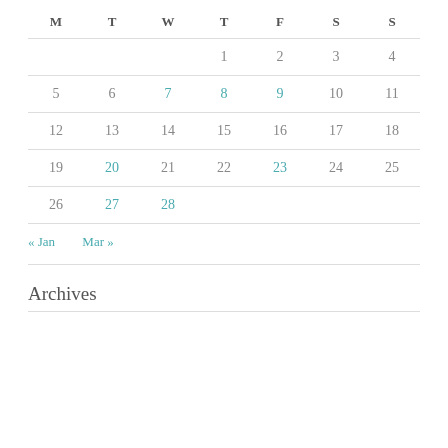| M | T | W | T | F | S | S |
| --- | --- | --- | --- | --- | --- | --- |
|  |  |  | 1 | 2 | 3 | 4 |
| 5 | 6 | 7 | 8 | 9 | 10 | 11 |
| 12 | 13 | 14 | 15 | 16 | 17 | 18 |
| 19 | 20 | 21 | 22 | 23 | 24 | 25 |
| 26 | 27 | 28 |  |  |  |  |
« Jan   Mar »
Archives